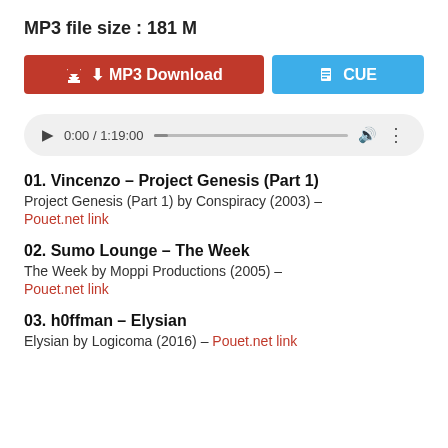MP3 file size : 181 M
[Figure (screenshot): Two buttons: a red 'MP3 Download' button with a down-arrow icon, and a blue 'CUE' button with a document icon]
[Figure (screenshot): Audio player bar showing play button, time 0:00 / 1:19:00, progress bar, volume icon, and more options icon]
01. Vincenzo – Project Genesis (Part 1)
Project Genesis (Part 1) by Conspiracy (2003) –
Pouet.net link
02. Sumo Lounge – The Week
The Week by Moppi Productions (2005) –
Pouet.net link
03. h0ffman – Elysian
Elysian by Logicoma (2016) – Pouet.net link